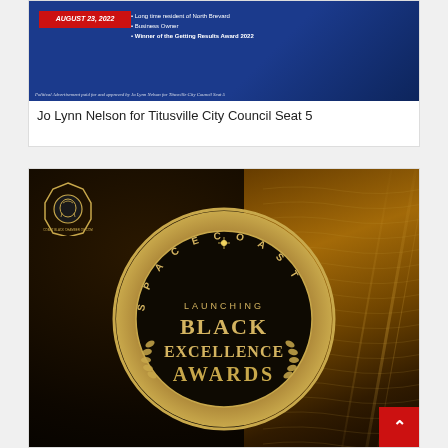[Figure (photo): Political advertisement banner for Jo Lynn Nelson for Titusville City Council Seat 5, showing date August 23, 2022 in red box on blue background, with bullet points: Long time resident of North Brevard, Business Owner, Winner of the Getting Results Award 2022. Disclaimer: Political Advertisement paid for and approved by Jo Lynn Nelson for Titusville City Council Seat 5]
Jo Lynn Nelson for Titusville City Council Seat 5
[Figure (photo): Space Coast Black Chamber of Commerce award graphic on dark golden background. Shows circular medallion with text: SPACE COAST (around top arc), LAUNCHING BLACK EXCELLENCE AWARDS (center). Features laurel wreath decorations. Chamber logo visible in upper left.]